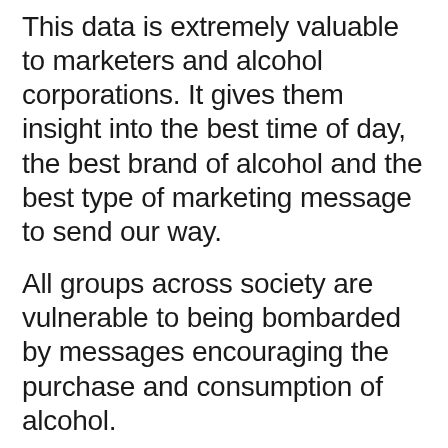This data is extremely valuable to marketers and alcohol corporations. It gives them insight into the best time of day, the best brand of alcohol and the best type of marketing message to send our way.
All groups across society are vulnerable to being bombarded by messages encouraging the purchase and consumption of alcohol.
Digital advertising can target everyone: teenagers looking for brands which exemplify their identity; young adults, the heaviest “occasion drinkers” in Australia and New Zealand, some of whom are developing drinking habits that may be hard to change in later life; and adults of all ages who wish to reduce their consumption, often for health